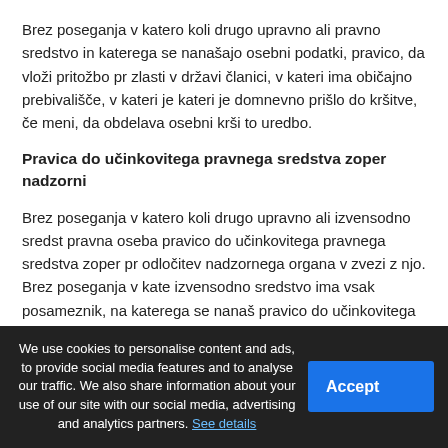Brez poseganja v katero koli drugo upravno ali pravno sredstvo in katerega se nanašajo osebni podatki, pravico, da vloži pritožbo pr zlasti v državi članici, v kateri ima običajno prebivališče, v kateri je kateri je domnevno prišlo do kršitve, če meni, da obdelava osebni krši to uredbo.
Pravica do učinkovitega pravnega sredstva zoper nadzorni
Brez poseganja v katero koli drugo upravno ali izvensodno sredst pravna oseba pravico do učinkovitega pravnega sredstva zoper pr odločitev nadzornega organa v zvezi z njo. Brez poseganja v kate izvensodno sredstvo ima vsak posameznik, na katerega se nanaš pravico do učinkovitega pravnega sredstva, kadar nadzorni organ, členov 55 in 56, ne obravnava pritožbe ali če posameznika, na kat podatki, v treh mesecih ne obvesti o stanju zadeve ali odločitvi o r
We use cookies to personalise content and ads, to provide social media features and to analyse our traffic. We also share information about your use of our site with our social media, advertising and analytics partners. See details
Vprašanja o zasebnosti